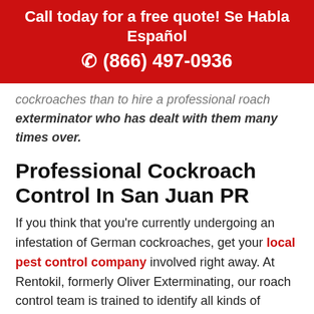Call today for a free quote! Se Habla Español
☎ (866) 497-0936
cockroaches than to hire a professional roach exterminator who has dealt with them many times over.
Professional Cockroach Control In San Juan PR
If you think that you're currently undergoing an infestation of German cockroaches, get your local pest control company involved right away. At Rentokil, formerly Oliver Exterminating, our roach control team is trained to identify all kinds of cockroach species and infestation sources in San Juan and elect the best extermination strategy accordingly. Contact us today for